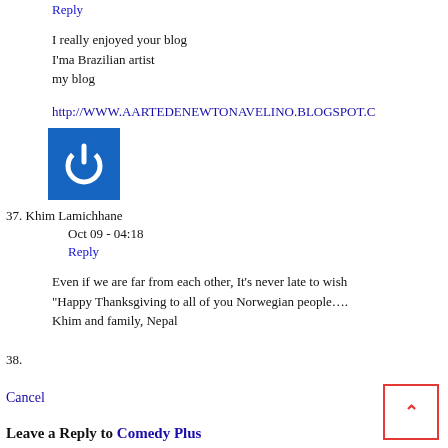Reply
I really enjoyed your blog
I'ma Brazilian artist
my blog
http://WWW.AARTEDENEWTONAVELINO.BLOGSPOT.C
[Figure (illustration): Blue square icon with white power button symbol]
37. Khim Lamichhane
Oct 09 - 04:18
Reply
Even if we are far from each other, It's never late to wish "Happy Thanksgiving to all of you Norwegian people…. Khim and family, Nepal
38.
Cancel
Leave a Reply to Comedy Plus